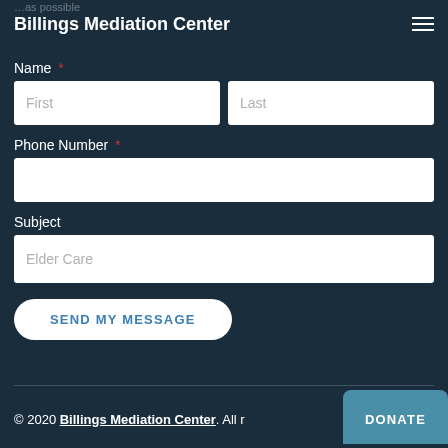Billings Mediation Center
Name *
First
Last
Phone Number *
Subject
Elder Care
SEND MY MESSAGE
© 2020 Billings Mediation Center. All r
DONATE